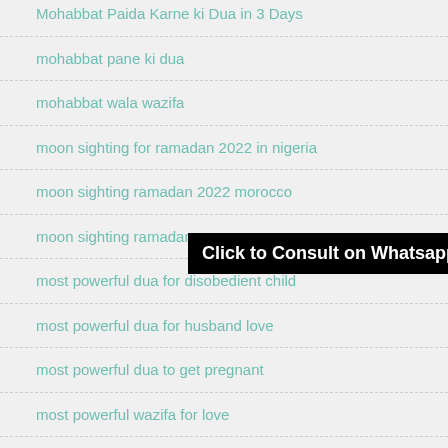Mohabbat Paida Karne ki Dua in 3 Days
mohabbat pane ki dua
mohabbat wala wazifa
moon sighting for ramadan 2022 in nigeria
moon sighting ramadan 2022 morocco
moon sighting ramadan ...
most powerful dua for disobedient child
most powerful dua for husband love
most powerful dua to get pregnant
most powerful wazifa for love
[Figure (screenshot): Black banner overlay with white text reading 'Click to Consult on Whatsapp']